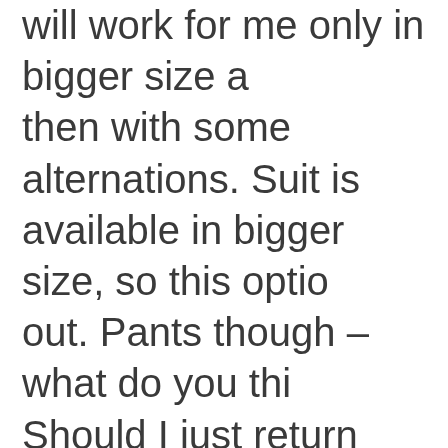will work for me only in bigger size and then with some alternations. Suit is available in bigger size, so this option out. Pants though – what do you think. Should I just return and forget about Scotch and Soda? But it was interesting experiment, to see how things work differently for different bodies. I think Angie also mentioned alternations, not sure if she had the same issues